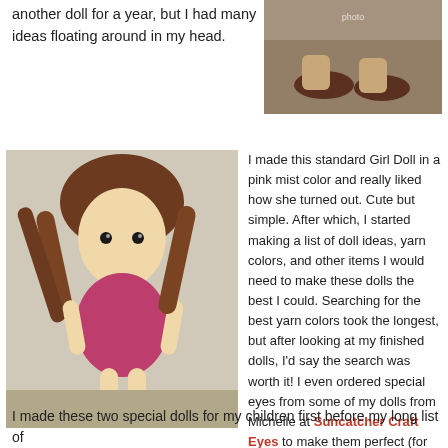another doll for a year, but I had many ideas floating around in my head.
[Figure (photo): Close-up photo of crocheted doll feet/shoes in dark brown yarn on a gray surface]
[Figure (photo): Crocheted girl doll with brown yarn hair, wearing a pink/red dress, standing pose]
I made this standard Girl Doll in a pink mist color and really liked how she turned out. Cute but simple. After which, I started making a list of doll ideas, yarn colors, and other items I would need to make these dolls the best I could. Searching for the best yarn colors took the longest, but after looking at my finished dolls, I’d say the search was worth it! I even ordered special eyes from some of my dolls from Michelle at Suncatcher Craft Eyes to make them perfect (for me anyways).
I made these two special dolls for my children first before my long list of